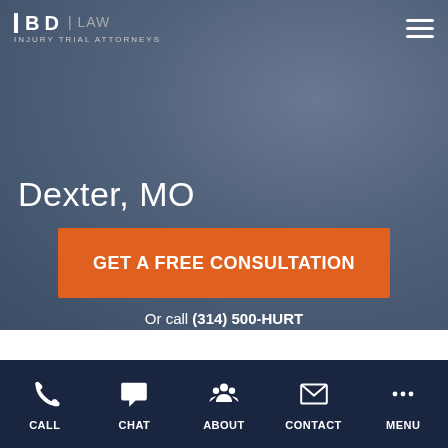BD LAW | INJURY TRIAL ATTORNEYS
Dexter, MO
GET A FREE CONSULTATION
Or call (314) 500-HURT
PROTECTING YOUR CHILD'S FUTURE
CALL  CHAT  ABOUT  CONTACT  MENU